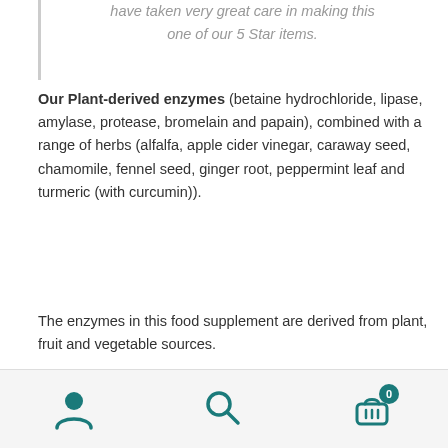have taken very great care in making this one of our 5 Star items.
Our Plant-derived enzymes (betaine hydrochloride, lipase, amylase, protease, bromelain and papain), combined with a range of herbs (alfalfa, apple cider vinegar, caraway seed, chamomile, fennel seed, ginger root, peppermint leaf and turmeric (with curcumin)).
The enzymes in this food supplement are derived from plant, fruit and vegetable sources.
6 plant enzymes
8 herbals
With curcumin
Navigation bar with user, search, and cart icons